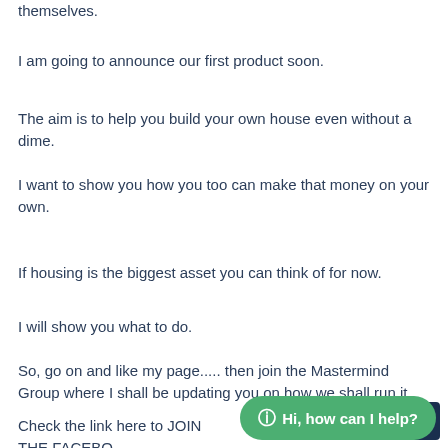themselves.
I am going to announce our first product soon.
The aim is to help you build your own house even without a dime.
I want to show you how you too can make that money on your own.
If housing is the biggest asset you can think of for now.
I will show you what to do.
So, go on and like my page..... then join the Mastermind Group where I shall be updating you on how we shall run it.
Check the link here to JOIN THE FACEBO